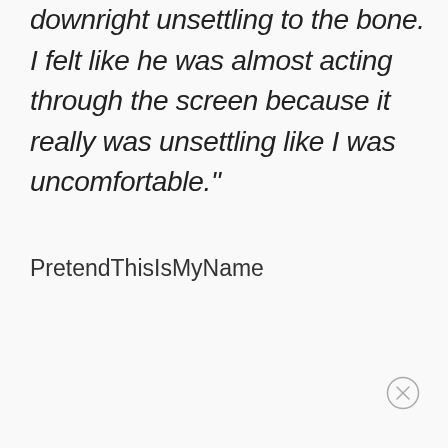downright unsettling to the bone. I felt like he was almost acting through the screen because it really was unsettling like I was uncomfortable."
PretendThisIsMyName